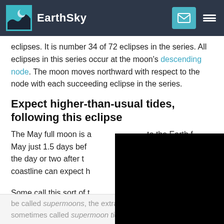EarthSky
eclipses. It is number 34 of 72 eclipses in the series. All eclipses in this series occur at the moon's descending node. The moon moves northward with respect to the node with each succeeding eclipse in the series.
Expect higher-than-usual tides, following this eclipse
The May full moon is a [obscured] to the Earth f May just 1.5 days bef[ore] the day or two after t[he eclipse] coastline can expect h[igher tides]
Some call this sort of t[ide] recent years, since clo[se full moons]
be called supermoons, the extra high tides they bring are sometimes called supermoon tides. Some also favor the